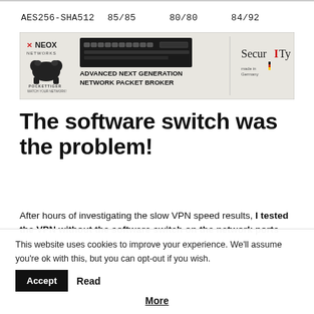| AES256-SHA512 | 85/85 | 80/80 | 84/92 |
[Figure (other): NEOX Networks PocketTiger Advanced Next Generation Network Packet Broker advertisement banner with device image and SecurITy logo]
The software switch was the problem!
After hours of investigating the slow VPN speed results, I tested the VPN without the software switch on the network ports side, which led to the following results
This website uses cookies to improve your experience. We'll assume you're ok with this, but you can opt-out if you wish. Accept Read More